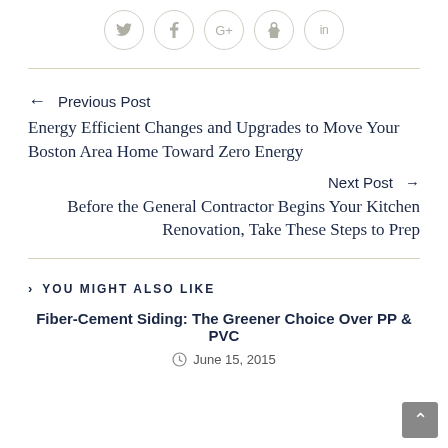[Figure (other): Social sharing icons: Twitter, Facebook, Google+, Pinterest, LinkedIn — each in a light circular border]
← Previous Post
Energy Efficient Changes and Upgrades to Move Your Boston Area Home Toward Zero Energy
Next Post →
Before the General Contractor Begins Your Kitchen Renovation, Take These Steps to Prep
> YOU MIGHT ALSO LIKE
Fiber-Cement Siding: The Greener Choice Over PP & PVC
June 15, 2015